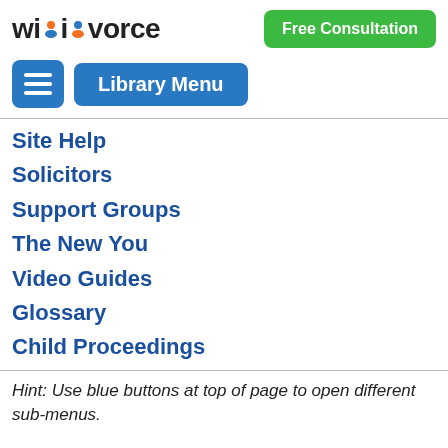[Figure (logo): Wikivorce logo with orange and blue person icon]
[Figure (other): Green Free Consultation button]
[Figure (other): Blue hamburger menu button and Library Menu button]
Site Help
Solicitors
Support Groups
The New You
Video Guides
Glossary
Child Proceedings
Hint: Use blue buttons at top of page to open different sub-menus.